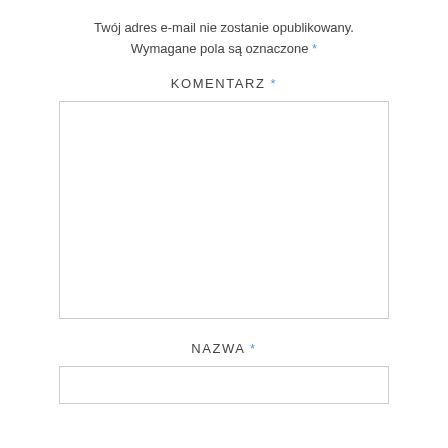Twój adres e-mail nie zostanie opublikowany. Wymagane pola są oznaczone *
KOMENTARZ *
[Figure (other): Empty textarea input field for comment]
NAZWA *
[Figure (other): Empty single-line text input field for name]